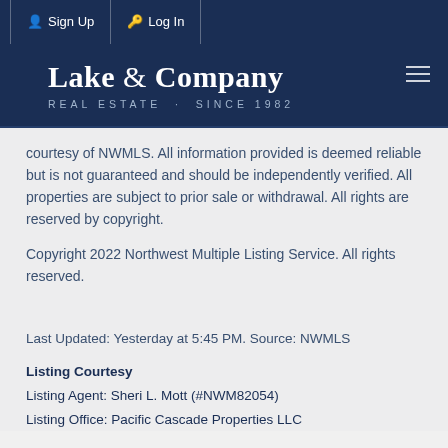Sign Up | Log In
[Figure (logo): Lake & Company Real Estate - Since 1982 logo on dark navy background]
courtesy of NWMLS. All information provided is deemed reliable but is not guaranteed and should be independently verified. All properties are subject to prior sale or withdrawal. All rights are reserved by copyright.
Copyright 2022 Northwest Multiple Listing Service. All rights reserved.
Last Updated: Yesterday at 5:45 PM. Source: NWMLS
Listing Courtesy
Listing Agent: Sheri L. Mott (#NWM82054)
Listing Office: Pacific Cascade Properties LLC